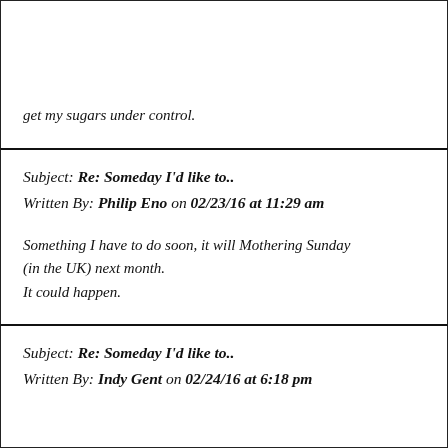get my sugars under control.
Subject: Re: Someday I'd like to..
Written By: Philip Eno on 02/23/16 at 11:29 am
Something I have to do soon, it will Mothering Sunday (in the UK) next month.
It could happen.
Subject: Re: Someday I'd like to..
Written By: Indy Gent on 02/24/16 at 6:18 pm